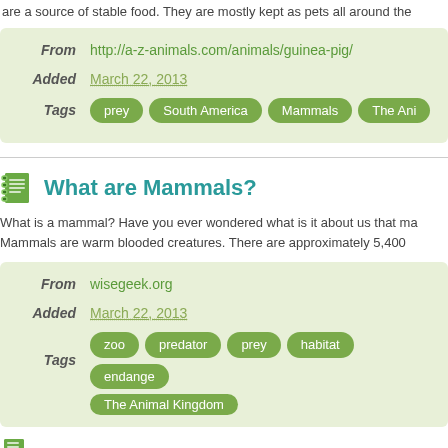are a source of stable food. They are mostly kept as pets all around th...
From  http://a-z-animals.com/animals/guinea-pig/
Added  March 22, 2013
Tags  prey  South America  Mammals  The An...
What are Mammals?
What is a mammal? Have you ever wondered what is it about us that ma...
Mammals are warm blooded creatures. There are approximately 5,400...
From  wisegeek.org
Added  March 22, 2013
Tags  zoo  predator  prey  habitat  endange...
The Animal Kingdom